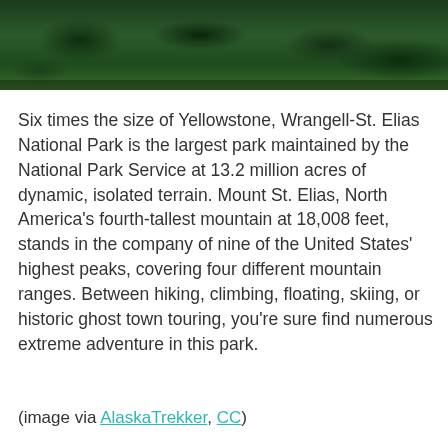[Figure (photo): Aerial or close-up photo of dense dark green forest/moss-covered terrain, cropped to a horizontal strip at the top of the page.]
Six times the size of Yellowstone, Wrangell-St. Elias National Park is the largest park maintained by the National Park Service at 13.2 million acres of dynamic, isolated terrain. Mount St. Elias, North America's fourth-tallest mountain at 18,008 feet, stands in the company of nine of the United States' highest peaks, covering four different mountain ranges. Between hiking, climbing, floating, skiing, or historic ghost town touring, you're sure find numerous extreme adventure in this park.
(image via AlaskaTrekker, CC)